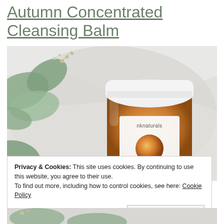Autumn Concentrated Cleansing Balm
[Figure (photo): A glass jar of nknaturals Autumn Concentrated Cleansing Balm with a white lid and label featuring an amber/orange circular gradient logo, photographed on white fabric with eucalyptus leaves.]
Privacy & Cookies: This site uses cookies. By continuing to use this website, you agree to their use.
To find out more, including how to control cookies, see here: Cookie Policy
Close and accept
[Figure (photo): Bottom sliver of a similar product photograph showing white fabric and plant elements.]